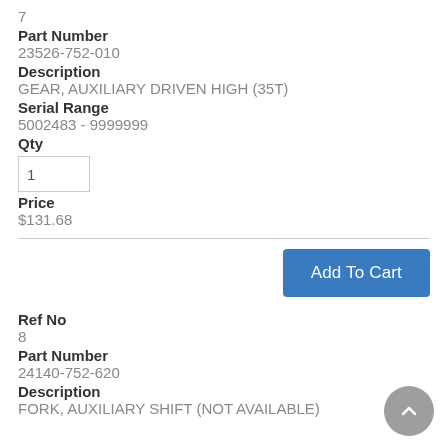7
Part Number
23526-752-010
Description
GEAR, AUXILIARY DRIVEN HIGH (35T)
Serial Range
5002483 - 9999999
Qty
1
Price
$131.68
Add To Cart
Ref No
8
Part Number
24140-752-620
Description
FORK, AUXILIARY SHIFT (NOT AVAILABLE)